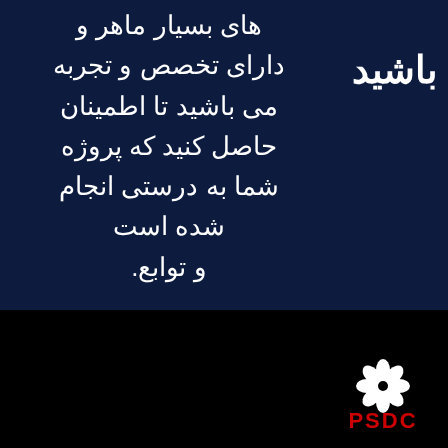های بسیار ماهر و دارای تخصص و تجربه می باشید تا اطمینان حاصل کنید که پروژه شما به درستی انجام شده است و توابع.
باشید
[Figure (logo): PSDC logo with white flower/daisy symbol above red PSDC text on black background]